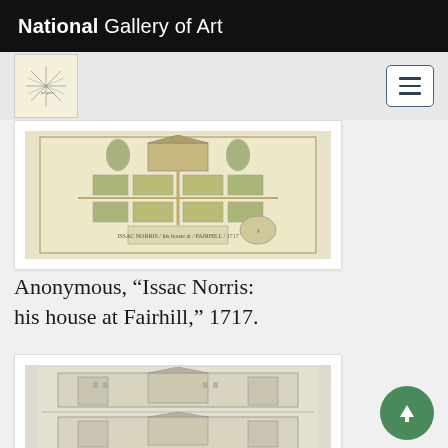National Gallery of Art
[Figure (illustration): First artwork: Anonymous, bird's-eye view engraving of a formal garden estate with house - Issac Norris: his house at Fairhill, 1717]
Anonymous, “Issac Norris: his house at Fairhill,” 1717.
[Figure (illustration): Second artwork: engraving showing a large estate building in two panels, top and bottom views]